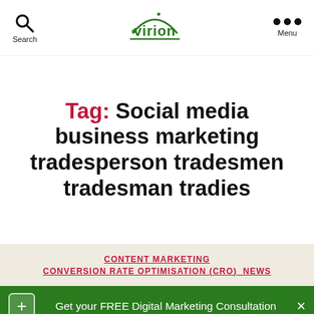Search | Virion | Menu
Tag: Social media business marketing tradesperson tradesmen tradesman tradies
CONTENT MARKETING
CONVERSION RATE OPTIMISATION (CRO)  NEWS
Get your FREE Digital Marketing Consultation
Yes please!
Chat